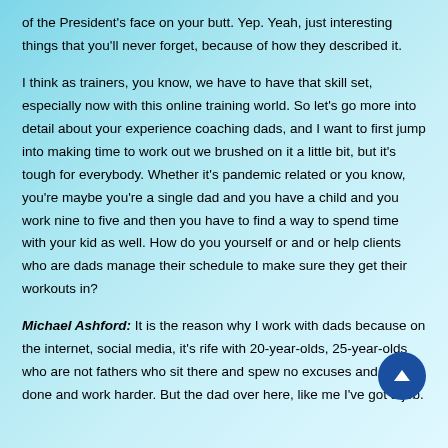of the President's face on your butt. Yep. Yeah, just interesting things that you'll never forget, because of how they described it.
I think as trainers, you know, we have to have that skill set, especially now with this online training world. So let's go more into detail about your experience coaching dads, and I want to first jump into making time to work out we brushed on it a little bit, but it's tough for everybody. Whether it's pandemic related or you know, you're maybe you're a single dad and you have a child and you work nine to five and then you have to find a way to spend time with your kid as well. How do you yourself or and or help clients who are dads manage their schedule to make sure they get their workouts in?
Michael Ashford: It is the reason why I work with dads because on the internet, social media, it's rife with 20-year-olds, 25-year-olds who are not fathers who sit there and spew no excuses and just get done and work harder. But the dad over here, like me I've got a job.